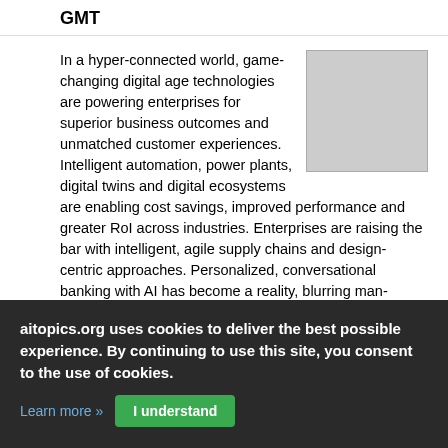GMT
[Figure (illustration): Gray placeholder image box, approximately square, light gray fill with border]
In a hyper-connected world, game-changing digital age technologies are powering enterprises for superior business outcomes and unmatched customer experiences. Intelligent automation, power plants, digital twins and digital ecosystems are enabling cost savings, improved performance and greater RoI across industries. Enterprises are raising the bar with intelligent, agile supply chains and design-centric approaches. Personalized, conversational banking with AI has become a reality, blurring man-machine boundaries and enabling superior customer engagement. Social platforms too have enabled quicker response times and faster issue resolution, ensuring'customer delight'.
aitopics.org uses cookies to deliver the best possible experience. By continuing to use this site, you consent to the use of cookies.
Learn more »   I understand